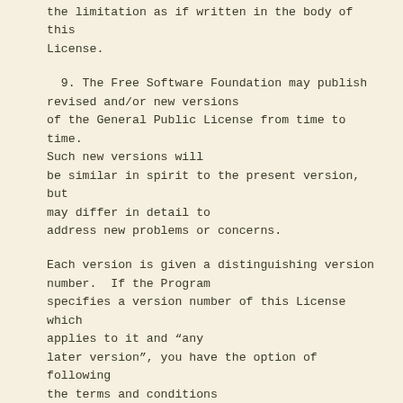License incorporates the limitation as if written in the body of this License.
9. The Free Software Foundation may publish revised and/or new versions of the General Public License from time to time. Such new versions will be similar in spirit to the present version, but may differ in detail to address new problems or concerns.
Each version is given a distinguishing version number.  If the Program specifies a version number of this License which applies to it and "any later version", you have the option of following the terms and conditions either of that version or of any later version published by the Free Software Foundation.  If the Program does not specify a version number of this License, you may choose any version ever published by the Free Software Foundation.